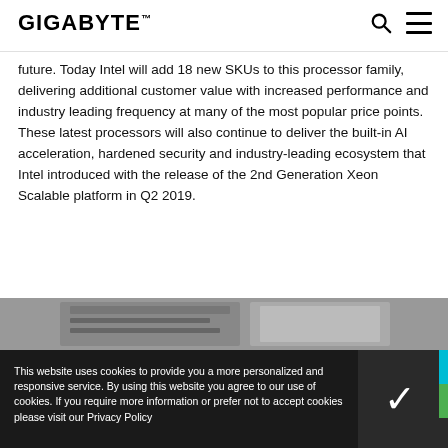GIGABYTE
future. Today Intel will add 18 new SKUs to this processor family, delivering additional customer value with increased performance and industry leading frequency at many of the most popular price points. These latest processors will also continue to deliver the built-in AI acceleration, hardened security and industry-leading ecosystem that Intel introduced with the release of the 2nd Generation Xeon Scalable platform in Q2 2019.
[Figure (photo): Partial view of a server product, likely a Gigabyte server with multiple PCIe slots]
This website uses cookies to provide you a more personalized and responsive service. By using this website you agree to our use of cookies. If you require more information or prefer not to accept cookies please visit our Privacy Policy